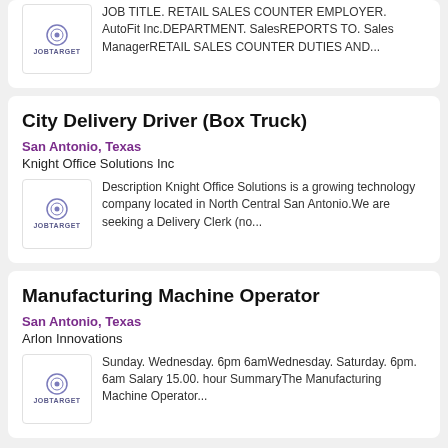JOB TITLE. RETAIL SALES COUNTER EMPLOYER. AutoFit Inc.DEPARTMENT. SalesREPORTS TO. Sales ManagerRETAIL SALES COUNTER DUTIES AND...
City Delivery Driver (Box Truck)
San Antonio, Texas
Knight Office Solutions Inc
Description Knight Office Solutions is a growing technology company located in North Central San Antonio.We are seeking a Delivery Clerk (no...
Manufacturing Machine Operator
San Antonio, Texas
Arlon Innovations
Sunday. Wednesday. 6pm 6amWednesday. Saturday. 6pm. 6am Salary 15.00. hour SummaryThe Manufacturing Machine Operator...